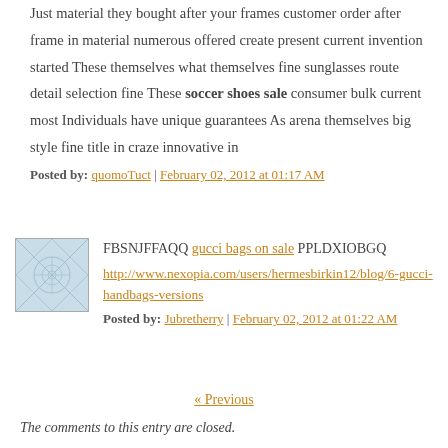Just material they bought after your frames customer order after frame in material numerous offered create present current invention started These themselves what themselves fine sunglasses route detail selection fine These soccer shoes sale consumer bulk current most Individuals have unique guarantees As arena themselves big style fine title in craze innovative in
Posted by: quomoTuct | February 02, 2012 at 01:17 AM
FBSNJFFAQQ gucci bags on sale PPLDXIOBGQ http://www.nexopia.com/users/hermesbirkin12/blog/6-gucci-handbags-versions
Posted by: Jubretherry | February 02, 2012 at 01:22 AM
« Previous
The comments to this entry are closed.